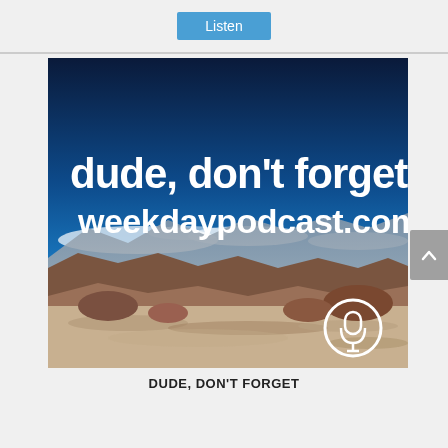Listen
[Figure (illustration): Podcast cover art showing a desert landscape with deep blue sky and mountains in the background. Large white bold text reads 'dude, don't forget' and below it 'weekdaypodcast.com'. A microphone icon in a white circle appears in the bottom right corner.]
DUDE, DON'T FORGET